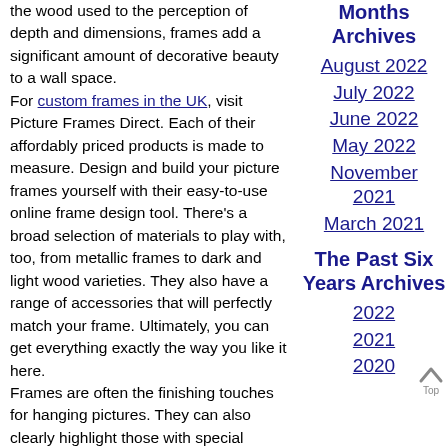the wood used to the perception of depth and dimensions, frames add a significant amount of decorative beauty to a wall space.
For custom frames in the UK, visit Picture Frames Direct. Each of their affordably priced products is made to measure. Design and build your picture frames yourself with their easy-to-use online frame design tool. There's a broad selection of materials to play with, too, from metallic frames to dark and light wood varieties. They also have a range of accessories that will perfectly match your frame. Ultimately, you can get everything exactly the way you like it here.
Frames are often the finishing touches for hanging pictures. They can also clearly highlight those with special
Months Archives
August 2022
July 2022
June 2022
May 2022
November 2021
March 2021
The Past Six Years Archives
2022
2021
2020